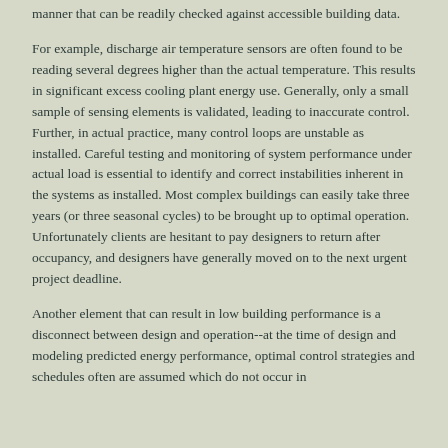manner that can be readily checked against accessible building data.
For example, discharge air temperature sensors are often found to be reading several degrees higher than the actual temperature. This results in significant excess cooling plant energy use. Generally, only a small sample of sensing elements is validated, leading to inaccurate control. Further, in actual practice, many control loops are unstable as installed. Careful testing and monitoring of system performance under actual load is essential to identify and correct instabilities inherent in the systems as installed. Most complex buildings can easily take three years (or three seasonal cycles) to be brought up to optimal operation. Unfortunately clients are hesitant to pay designers to return after occupancy, and designers have generally moved on to the next urgent project deadline.
Another element that can result in low building performance is a disconnect between design and operation--at the time of design and modeling predicted energy performance, optimal control strategies and schedules often are assumed which do not occur in